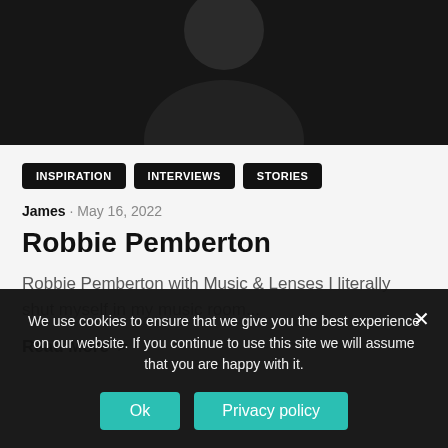[Figure (photo): Dark monochrome portrait photo of a person against a dark background, partially visible (upper body/head area cropped)]
INSPIRATION
INTERVIEWS
STORIES
James · May 16, 2022
Robbie Pemberton
Robbie Pemberton with Music & Lenses I literally shut myself in my music room...
Read More >
We use cookies to ensure that we give you the best experience on our website. If you continue to use this site we will assume that you are happy with it.